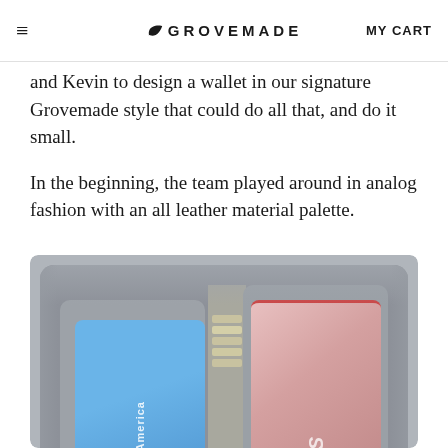≡  GROVEMADE  MY CART
and Kevin to design a wallet in our signature Grovemade style that could do all that, and do it small.
In the beginning, the team played around in analog fashion with an all leather material palette.
[Figure (photo): Close-up photo of an open leather wallet showing a blue Bank of America card on the left, cash/bills in the middle slot, and a red-bordered Visa card on the right side, all inside a gray leather wallet.]